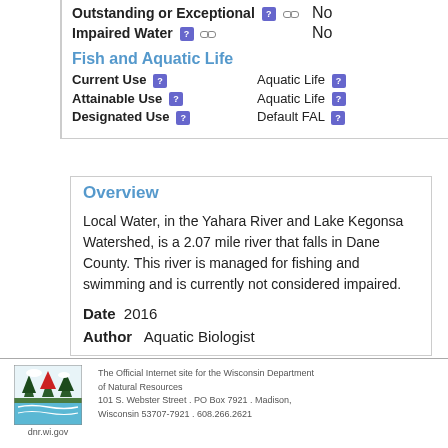Outstanding or Exceptional  No
Impaired Water  No
Fish and Aquatic Life
Current Use   Aquatic Life
Attainable Use   Aquatic Life
Designated Use   Default FAL
Overview
Local Water, in the Yahara River and Lake Kegonsa Watershed, is a 2.07 mile river that falls in Dane County. This river is managed for fishing and swimming and is currently not considered impaired.
Date  2016
Author  Aquatic Biologist
[Figure (logo): Wisconsin DNR logo with trees and water, dnr.wi.gov]
The Official Internet site for the Wisconsin Department of Natural Resources
101 S. Webster Street . PO Box 7921 . Madison, Wisconsin 53707-7921 . 608.266.2621